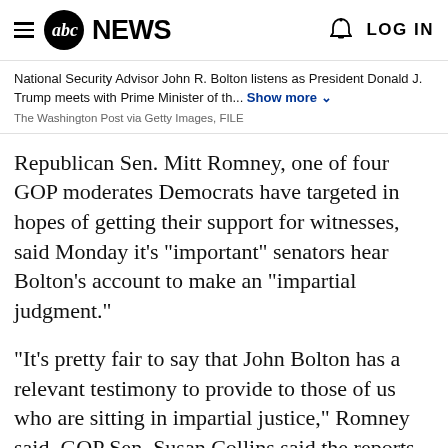abc NEWS  LOG IN
National Security Advisor John R. Bolton listens as President Donald J. Trump meets with Prime Minister of th... Show more
The Washington Post via Getty Images, FILE
Republican Sen. Mitt Romney, one of four GOP moderates Democrats have targeted in hopes of getting their support for witnesses, said Monday it's "important" senators hear Bolton's account to make an "impartial judgment."
"It's pretty fair to say that John Bolton has a relevant testimony to provide to those of us who are sitting in impartial justice," Romney said. GOP Sen. Susan Collins said the reports